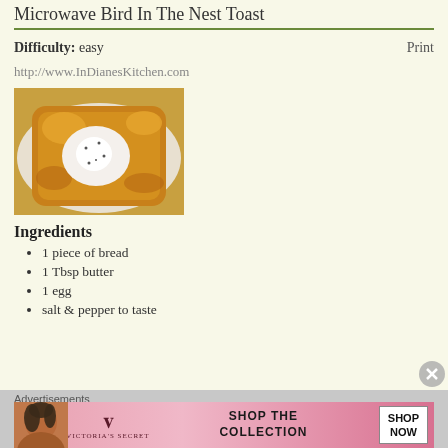Microwave Bird In The Nest Toast
Difficulty: easy
Print
http://www.InDianesKitchen.com
[Figure (photo): Bird in the nest toast - a piece of toast with a hole in the center filled with a cooked egg, on a decorative plate]
Ingredients
1 piece of bread
1 Tbsp butter
1 egg
salt & pepper to taste
Advertisements
[Figure (infographic): Victoria's Secret advertisement banner - pink background with model, VS logo, and 'SHOP THE COLLECTION SHOP NOW' text]